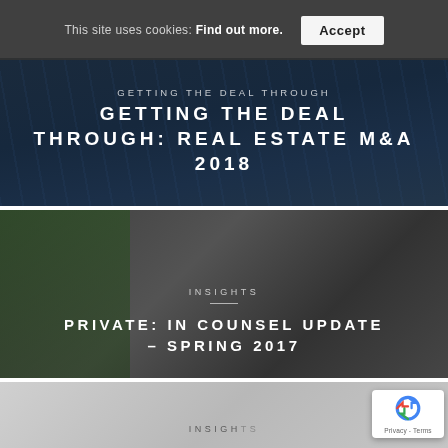This site uses cookies: Find out more. Accept
[Figure (photo): Dark blue glass building facade with overlaid white text: GETTING THE DEAL THROUGH: REAL ESTATE M&A 2018]
GETTING THE DEAL THROUGH: REAL ESTATE M&A 2018
[Figure (photo): Interior scene with plant and dark sofa chairs, overlaid with text: INSIGHTS / PRIVATE: IN COUNSEL UPDATE – SPRING 2017]
INSIGHTS
PRIVATE: IN COUNSEL UPDATE – SPRING 2017
[Figure (photo): Partial view of a third card showing INSIGHTS label, light grey background]